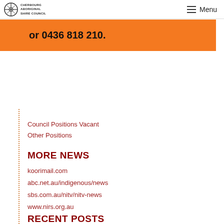Cherbourg Aboriginal Shire Council — Menu
or 0436 818 210.
Council Positions Vacant
Other Positions
MORE NEWS
koorimail.com
abc.net.au/indigenous/news
sbs.com.au/nitv/nitv-news
www.nirs.org.au
RECENT POSTS